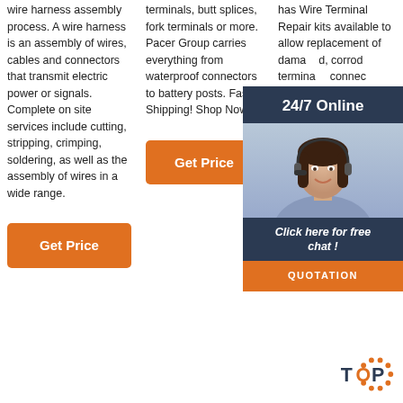wire harness assembly process. A wire harness is an assembly of wires, cables and connectors that transmit electric power or signals. Complete on site services include cutting, stripping, crimping, soldering, as well as the assembly of wires in a wide range.
[Figure (other): Orange 'Get Price' button]
terminals, butt splices, fork terminals or more. Pacer Group carries everything from waterproof connectors to battery posts. Fast Shipping! Shop Now!
[Figure (other): Orange 'Get Price' button]
has Wire Terminal Repair kits available to allow replacement of damaged, corroded terminals, connectors can save customers hundreds of dollars in complete harness labor too. There female terminal kits, 6 male terminal kits and 5 Power Distribution Box ...
[Figure (other): 24/7 Online chat overlay with person image, 'Click here for free chat!' text, and QUOTATION button]
[Figure (logo): TOP logo with dots arranged in a circle]